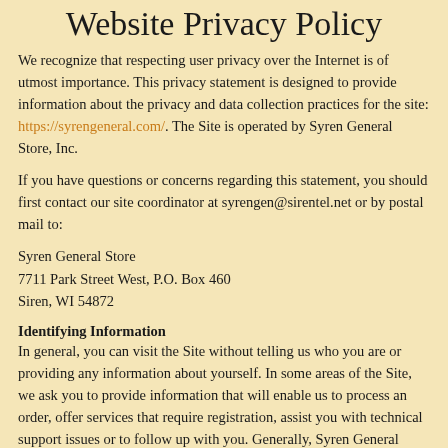Website Privacy Policy
We recognize that respecting user privacy over the Internet is of utmost importance. This privacy statement is designed to provide information about the privacy and data collection practices for the site: https://syrengeneral.com/. The Site is operated by Syren General Store, Inc.
If you have questions or concerns regarding this statement, you should first contact our site coordinator at syrengen@sirentel.net or by postal mail to:
Syren General Store
7711 Park Street West, P.O. Box 460
Siren, WI 54872
Identifying Information
In general, you can visit the Site without telling us who you are or providing any information about yourself. In some areas of the Site, we ask you to provide information that will enable us to process an order, offer services that require registration, assist you with technical support issues or to follow up with you. Generally, Syren General